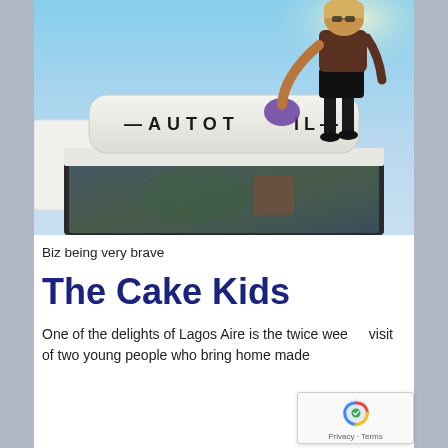[Figure (photo): A person (Biz) standing on top of an Autotrail motorhome/camper van, cleaning the roof with a purple cloth. Blue sky in background.]
Biz being very brave
The Cake Kids
One of the delights of Lagos Aire is the twice wee... visit of two young people who bring home made